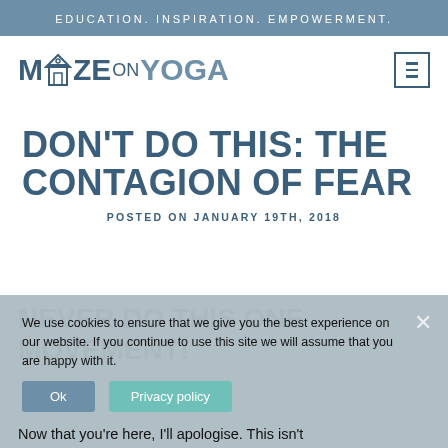EDUCATION. INSPIRATION. EMPOWERMENT.
[Figure (logo): MazeOnYoga logo with stylized A-frame/house icon between M and ZE, followed by ON in smaller text and YOGA in blue]
DON'T DO THIS: THE CONTAGION OF FEAR
POSTED ON JANUARY 19TH, 2018
NEVER DO THIS ONE MOVEMENT!
We use cookies to ensure that we give you the best experience on our website. If you continue to use this site we will assume that you are happy with it.
Now that you're here, I'll apologise. This isn't